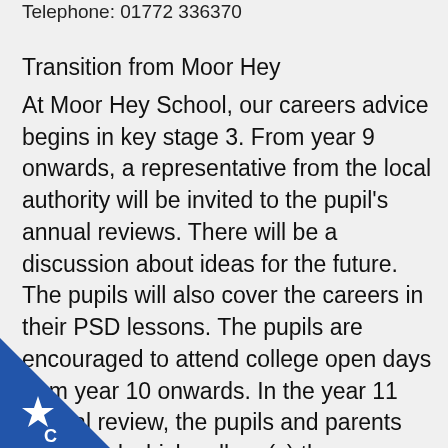Telephone: 01772 336370
Transition from Moor Hey
At Moor Hey School, our careers advice begins in key stage 3. From year 9 onwards, a representative from the local authority will be invited to the pupil's annual reviews. There will be a discussion about ideas for the future. The pupils will also cover the careers in their PSD lessons. The pupils are encouraged to attend college open days from year 10 onwards. In the year 11 annual review, the pupils and parents are asked which college(s) they are interested in applying for. As the application forms can
[Figure (logo): Blue and white star badge logo with letter C in bottom-left corner of page]